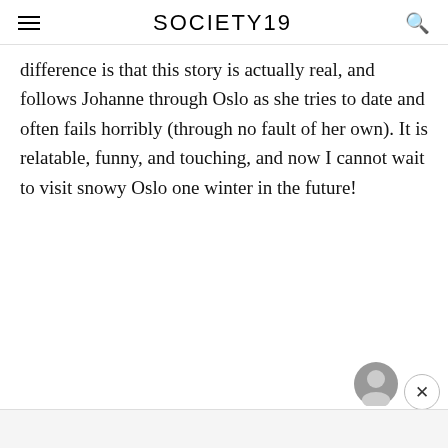SOCIETY19
difference is that this story is actually real, and follows Johanne through Oslo as she tries to date and often fails horribly (through no fault of her own). It is relatable, funny, and touching, and now I cannot wait to visit snowy Oslo one winter in the future!